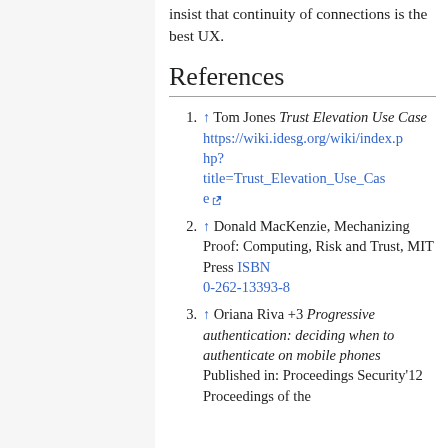insist that continuity of connections is the best UX.
References
1. ↑ Tom Jones Trust Elevation Use Case https://wiki.idesg.org/wiki/index.php?title=Trust_Elevation_Use_Case
2. ↑ Donald MacKenzie, Mechanizing Proof: Computing, Risk and Trust, MIT Press ISBN 0-262-13393-8
3. ↑ Oriana Riva +3 Progressive authentication: deciding when to authenticate on mobile phones Published in: Proceedings Security'12 Proceedings of the